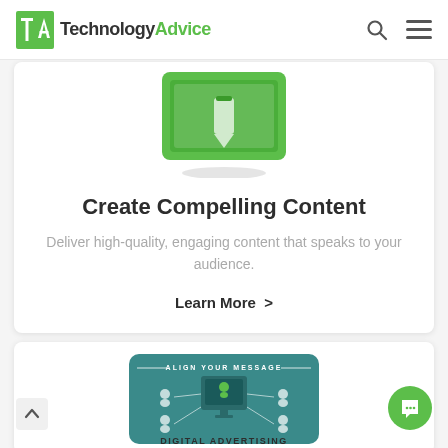TechnologyAdvice
[Figure (illustration): Green tablet/device illustration with 'IN ONE PLACE' label and shadow underneath]
Create Compelling Content
Deliver high-quality, engaging content that speaks to your audience.
Learn More >
[Figure (illustration): Teal card with 'ALIGN YOUR MESSAGE' and digital advertising illustration with connected figures around a monitor, labeled DIGITAL ADVERTISING]